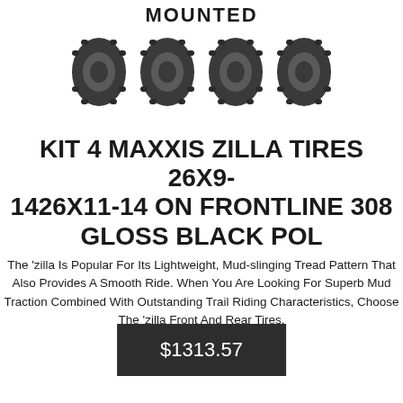[Figure (photo): Four ATV/UTV tires shown in a row against white background, with 'MOUNTED' text above them. The tires are dark colored with aggressive mud-terrain tread patterns.]
KIT 4 MAXXIS ZILLA TIRES 26X9-1426X11-14 ON FRONTLINE 308 GLOSS BLACK POL
The 'zilla Is Popular For Its Lightweight, Mud-slinging Tread Pattern That Also Provides A Smooth Ride. When You Are Looking For Superb Mud Traction Combined With Outstanding Trail Riding Characteristics, Choose The 'zilla Front And Rear Tires.
$1313.57